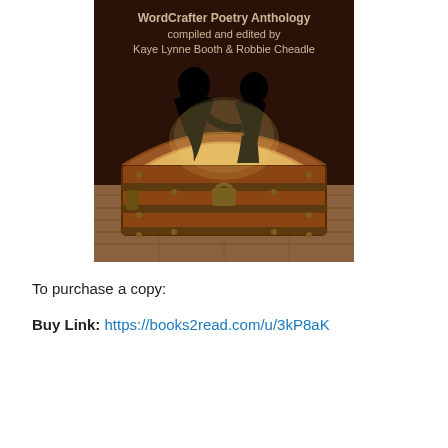[Figure (illustration): Book cover for WordCrafter Poetry Anthology compiled and edited by Kaye Lynne Booth & Robbie Cheadle. Dark brown background with two black silhouetted figures (a man and a woman) emerging from an open antique wooden treasure chest sitting on wooden planks. Text at top reads 'WordCrafter Poetry Anthology compiled and edited by Kaye Lynne Booth & Robbie Cheadle'.]
To purchase a copy:
Buy Link: https://books2read.com/u/3kP8aK